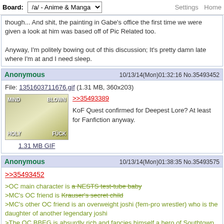Board: /a/ - Anime & Manga | Settings Home
though... And shit, the painting in Gabe's office the first time we were given a look at him was based off of Pic Related too.

Anyway, I'm politely bowing out of this discussion; It's pretty damn late where I'm at and I need sleep.
Anonymous 10/13/14(Mon)01:32:16 No.35493452
File: 1351603711676.gif (1.31 MB, 360x203)
>>35493389
KoF Quest confirmed for Deepest Lore? At least for Fanfiction anyway.
1.31 MB GIF
Anonymous 10/13/14(Mon)01:38:35 No.35493575
>>35493452
>OC main character is a NESTS test-tube baby
>MC's OC friend is Krauser's secret child
>MC's other OC friend is an overweight joshi (fem-pro wrestler) who is the daughter of another legendary joshi
>The OC BBEG is absurdly rich and fancies himself a hero of Southtown while being a descendant of Golba
>The other OC BBEG is a girl wielding the aspect of the succubus and has serious magic powers while having possible ties to Mizuki, one of the biggest bad guys in SamSho